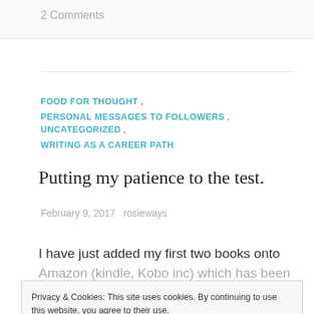2 Comments
FOOD FOR THOUGHT , PERSONAL MESSAGES TO FOLLOWERS , UNCATEGORIZED , WRITING AS A CAREER PATH
Putting my patience to the test.
February 9, 2017   rosieways
I have just added my first two books onto Amazon (kindle, Kobo inc) which has been
Privacy & Cookies: This site uses cookies. By continuing to use this website, you agree to their use.
To find out more, including how to control cookies, see here:
Cookie Policy
Close and accept